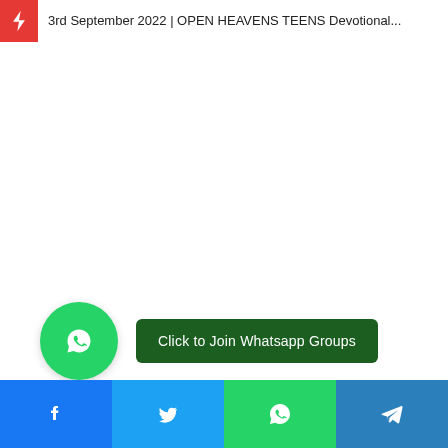3rd September 2022 | OPEN HEAVENS TEENS Devotional...
[Figure (other): Large white/blank advertisement or content area]
[Figure (other): WhatsApp join group button with green circle WhatsApp icon and dark green button labeled 'Click to Join Whatsapp Groups']
[Figure (other): Social sharing bar with Facebook, Twitter, WhatsApp, and Telegram icons]